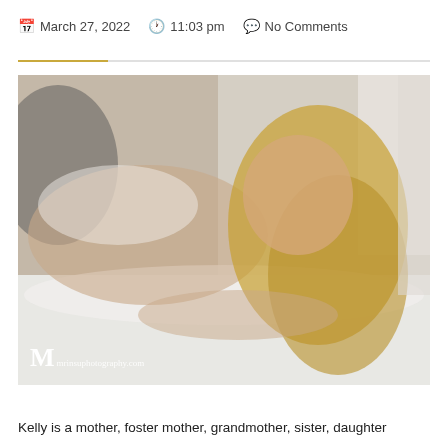March 27, 2022   11:03 pm   No Comments
[Figure (photo): A woman with long blonde hair lying on a white bed, photographed in lingerie in a boudoir style. Watermark reads M mrinsuphotography.com]
Kelly is a mother, foster mother, grandmother, sister, daughter